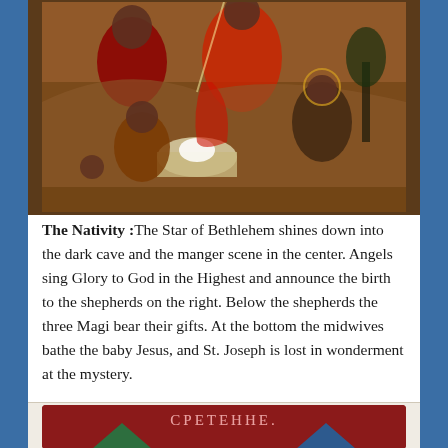[Figure (illustration): A religious icon painting depicting the Nativity scene with figures in red and brown tones, showing the manger scene with angels and figures bathing the baby Jesus.]
The Nativity :The Star of Bethlehem shines down into the dark cave and the manger scene in the center. Angels sing Glory to God in the Highest and announce the birth to the shepherds on the right. Below the shepherds the three Magi bear their gifts. At the bottom the midwives bathe the baby Jesus, and St. Joseph is lost in wonderment at the mystery.
[Figure (illustration): A partial view of another religious icon on a dark red background with Cyrillic text 'CPETEHHE.' and geometric triangle shapes at the bottom in green and blue.]